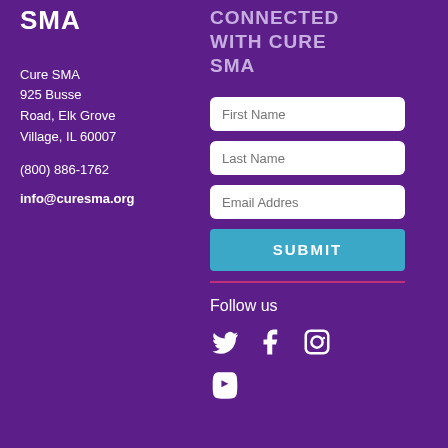SMA
Cure SMA
925 Busse Road, Elk Grove Village, IL 60007
(800) 886-1762
info@curesma.org
CONNECTED WITH CURE SMA
[Figure (other): Newsletter signup form with First Name, Last Name, Email Address fields and a SUBMIT button]
Follow us
[Figure (other): Social media icons: Twitter, Facebook, Instagram, YouTube]